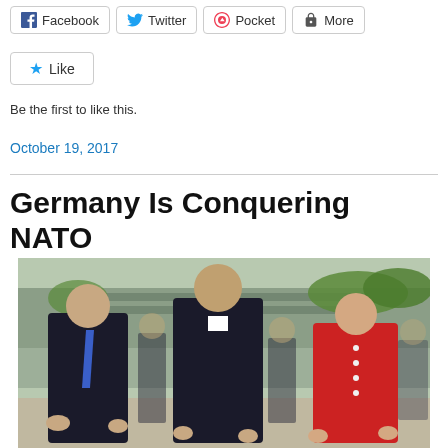[Figure (other): Row of share buttons: Facebook, Twitter, Pocket, More]
[Figure (other): Like button widget with star icon]
Be the first to like this.
October 19, 2017
Germany Is Conquering NATO
[Figure (photo): Photo of three people walking outdoors: a man in dark suit with blue tie on the left (Donald Trump), a taller man in dark suit in the center, and a woman in a red jacket on the right (Angela Merkel), with other figures and a building in the background.]